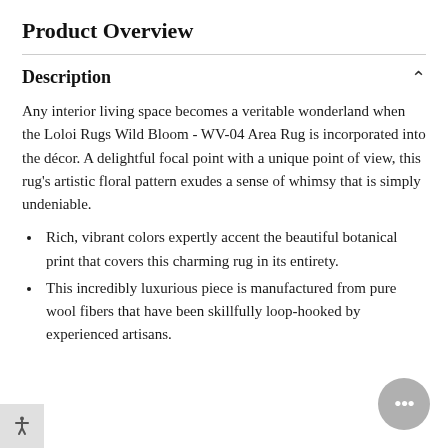Product Overview
Description
Any interior living space becomes a veritable wonderland when the Loloi Rugs Wild Bloom - WV-04 Area Rug is incorporated into the décor. A delightful focal point with a unique point of view, this rug's artistic floral pattern exudes a sense of whimsy that is simply undeniable.
Rich, vibrant colors expertly accent the beautiful botanical print that covers this charming rug in its entirety.
This incredibly luxurious piece is manufactured from pure wool fibers that have been skillfully loop-hooked by experienced artisans.